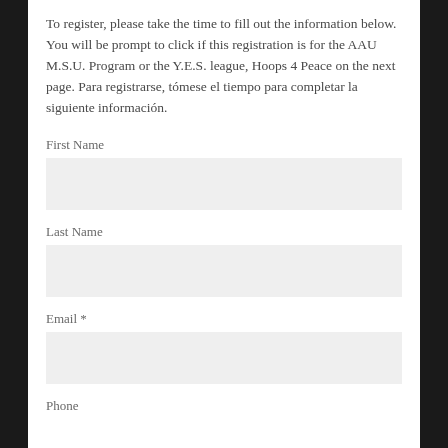To register, please take the time to fill out the information below. You will be prompt to click if this registration is for the AAU M.S.U. Program or the Y.E.S. league, Hoops 4 Peace on the next page. Para registrarse, tómese el tiempo para completar la siguiente información.
First Name
Last Name
Email *
Phone